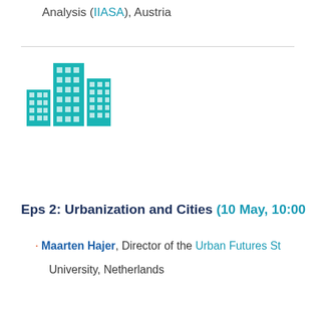Analysis (IIASA), Austria
[Figure (illustration): Teal/cyan icon of city buildings (urbanization icon) — multiple rectangular building shapes with grid windows]
Eps 2: Urbanization and Cities (10 May, 10:00
Maarten Hajer, Director of the Urban Futures St... University, Netherlands